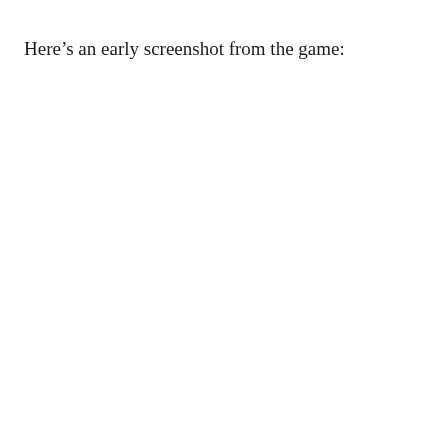Here’s an early screenshot from the game: